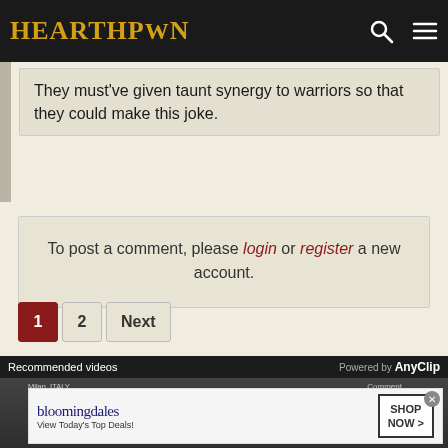HEARTHPWN
They must've given taunt synergy to warriors so that they could make this joke.
To post a comment, please login or register a new account.
1  2  Next
Recommended videos  Powered by AnyClip
[Figure (screenshot): Video thumbnail showing crowd scene in Milan, Italy with text 'Etoile Roberto Bolle holds open ...' and stats showing 80 views]
[Figure (screenshot): Bloomingdale's advertisement: 'bloomingdales View Today's Top Deals! SHOP NOW >']